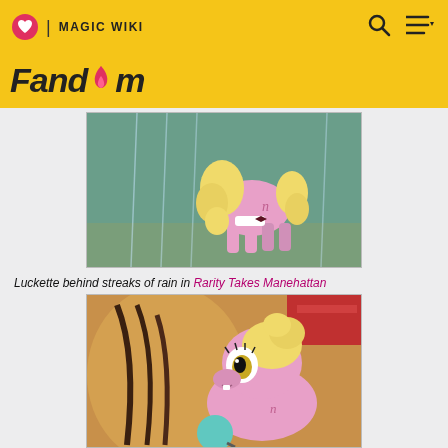MAGIC WIKI | Fandom
[Figure (illustration): Animated pony character Luckette shown from behind, pink body with curly yellow mane and tail, wearing a white collar with bow tie, standing in front of a teal background]
Luckette behind streaks of rain in Rarity Takes Manehattan
[Figure (illustration): Close-up of animated pony character Luckette as a filly, pink body with curly yellow mane, large yellow eyes with eyelashes, surrounded by orange and red background elements, holding a lollipop]
Luckette as a filly in a flashback in Pinkie Pride
[Figure (illustration): Partial view of another scene, blue/teal background visible at bottom]